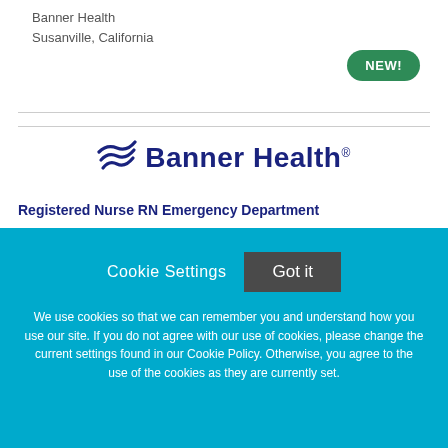Banner Health
Susanville, California
[Figure (logo): Banner Health logo with wave graphic and bold dark blue text 'Banner Health' with trademark symbol]
Registered Nurse RN Emergency Department
Cookie Settings   Got it
We use cookies so that we can remember you and understand how you use our site. If you do not agree with our use of cookies, please change the current settings found in our Cookie Policy. Otherwise, you agree to the use of the cookies as they are currently set.